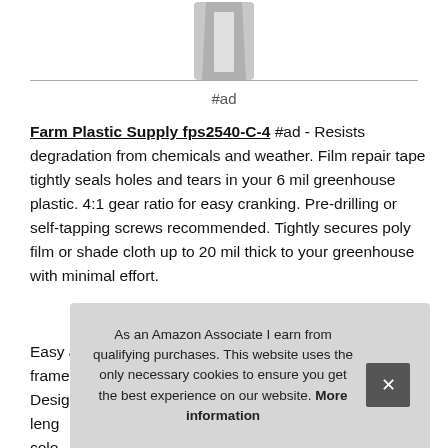[Figure (photo): Partial product photo cropped at top of page]
#ad
Farm Plastic Supply fps2540-C-4 #ad - Resists degradation from chemicals and weather. Film repair tape tightly seals holes and tears in your 6 mil greenhouse plastic. 4:1 gear ratio for easy cranking. Pre-drilling or self-tapping screws recommended. Tightly secures poly film or shade cloth up to 20 mil thick to your greenhouse with minimal effort.
Easy attachment for greenhouses, row covers, quilt frames, cold frames, tarps, hoop houses, and more. Designed to keep tigh... leng... colo... Des... envi...
As an Amazon Associate I earn from qualifying purchases. This website uses the only necessary cookies to ensure you get the best experience on our website. More information